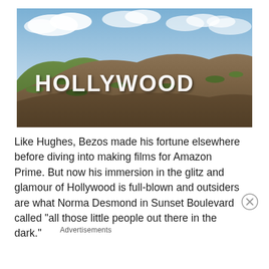[Figure (photo): Photo of the famous Hollywood sign on a hillside with blue sky and clouds in the background]
Like Hughes, Bezos made his fortune elsewhere before diving into making films for Amazon Prime. But now his immersion in the glitz and glamour of Hollywood is full-blown and outsiders are what Norma Desmond in Sunset Boulevard called “all those little people out there in the dark.”
Advertisements